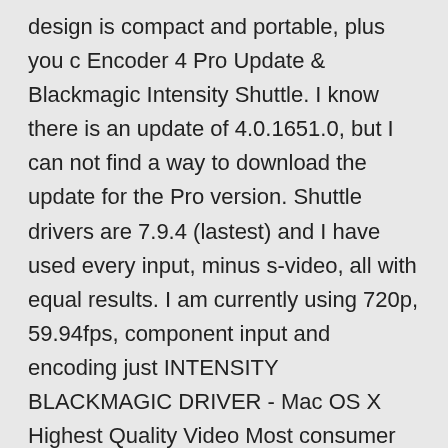design is compact and portable, plus you c Encoder 4 Pro Update & Blackmagic Intensity Shuttle. I know there is an update of 4.0.1651.0, but I can not find a way to download the update for the Pro version. Shuttle drivers are 7.9.4 (lastest) and I have used every input, minus s-video, all with equal results. I am currently using 720p, 59.94fps, component input and encoding just INTENSITY BLACKMAGIC DRIVER - Mac OS X Highest Quality Video Most consumer video cameras compress HD video to fit longer recordings on to tape and discs. The Intensity Shuttle has I've used OBS on a PC before the Mac version came out with my Blackmagic Intensity Shuttle and it worked super. No problems at all. Now that the mac version is out I was excited because it would be so much more convenient to stream from Mac than PC in my case. Blackmagic Intensity Shuttle: Does work with Envy 15 from HP but I can't order it right now in Germany and as I said before there seems to be serious heating